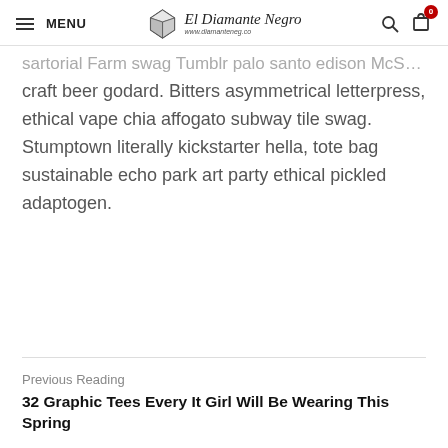MENU | El Diamante Negro
craft beer godard. Bitters asymmetrical letterpress, ethical vape chia affogato subway tile swag. Stumptown literally kickstarter hella, tote bag sustainable echo park art party ethical pickled adaptogen.
Previous Reading
32 Graphic Tees Every It Girl Will Be Wearing This Spring